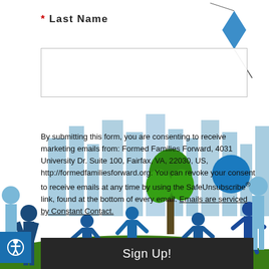* Last Name
[Figure (illustration): Colorful silhouette illustration of children playing outdoors with a city skyline, tree, kite, and ball in blue, green, and teal tones forming the background of a sign-up form.]
By submitting this form, you are consenting to receive marketing emails from: Formed Families Forward, 4031 University Dr. Suite 100, Fairfax, VA, 22030, US, http://formedfamiliesforward.org. You can revoke your consent to receive emails at any time by using the SafeUnsubscribe® link, found at the bottom of every email. Emails are serviced by Constant Contact.
Sign Up!